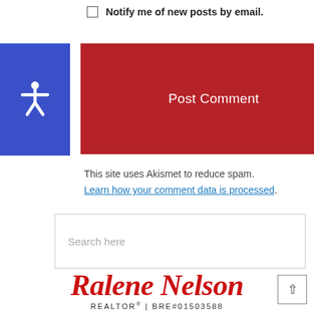☐ Notify me of new posts by email.
[Figure (other): Blue accessibility icon button with wheelchair symbol on the left, and a red 'Post Comment' button on the right]
This site uses Akismet to reduce spam. Learn how your comment data is processed.
Search here
[Figure (logo): Ralene Nelson REALTOR script logo in red with REALTOR® | BRE#01503588 text below and tagline partially visible]
"Here To Sell You The Best Home"